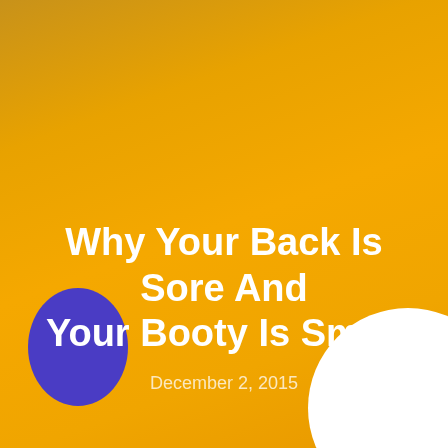[Figure (illustration): Orange-yellow gradient background with a white circle arc in the bottom-right corner and a purple ellipse in the bottom-left corner]
Why Your Back Is Sore And Your Booty Is Small
December 2, 2015